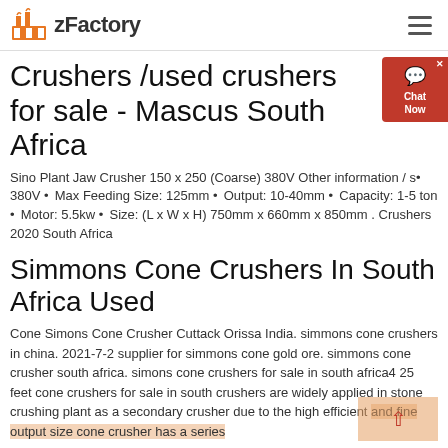zFactory
Crushers /used crushers for sale - Mascus South Africa
Sino Plant Jaw Crusher 150 x 250 (Coarse) 380V Other information / s... • 380V • Max Feeding Size: 125mm • Output: 10-40mm • Capacity: 1-5 ton • Motor: 5.5kw • Size: (L x W x H) 750mm x 660mm x 850mm . Crushers 2020 South Africa
Simmons Cone Crushers In South Africa Used
Cone Simons Cone Crusher Cuttack Orissa India. simmons cone crushers in china. 2021-7-2 supplier for simmons cone gold ore. simmons cone crusher south africa. simons cone crushers for sale in south africa4 25 feet cone crushers for sale in south crushers are widely applied in stone crushing plant as a secondary crusher due to the high efficient and fine output size cone crusher has a series